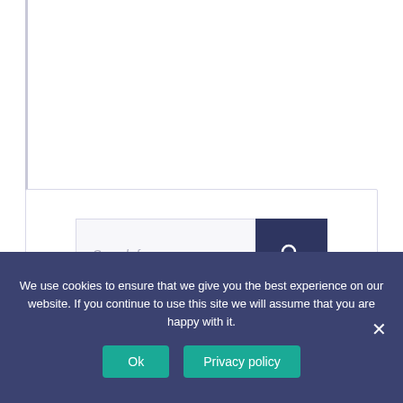[Figure (screenshot): Search box UI with text input field showing placeholder 'Search for...' and a dark navy search button with magnifying glass icon]
We use cookies to ensure that we give you the best experience on our website. If you continue to use this site we will assume that you are happy with it.
Ok
Privacy policy